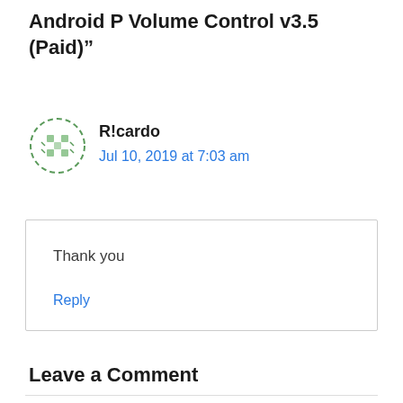Android P Volume Control v3.5 (Paid)”
R!cardo
Jul 10, 2019 at 7:03 am
Thank you
Reply
Leave a Comment